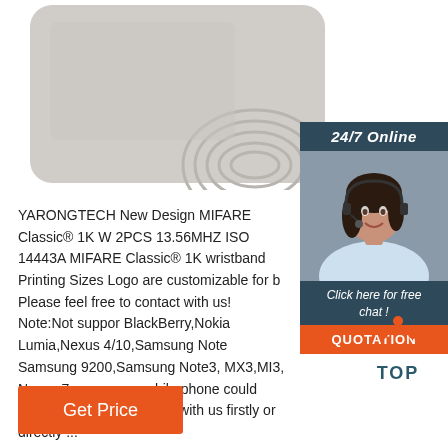[Figure (photo): NFC/RFID tag card, light gray color with antenna coil visible, square with rounded corners]
[Figure (infographic): 24/7 Online customer support panel with female agent photo, 'Click here for free chat!' text, and orange QUOTATION button]
YARONGTECH New Design MIFARE Classic® 1K W 2PCS 13.56MHZ ISO 14443A MIFARE Classic® 1K wristband Printing Sizes Logo are customizable for b Please feel free to contact with us! Note:Not suppor BlackBerry,Nokia Lumia,Nexus 4/10,Samsung Note Samsung 9200,Samsung Note3, MX3,MI3, Nexus 7 sure your mobile phone could support or not,pls contact with us firstly or directly ...
[Figure (logo): TOP icon with orange dots forming a triangle/house shape above the word TOP in dark teal color]
[Figure (other): Orange 'Get Price' button]